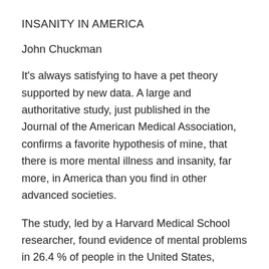INSANITY IN AMERICA
John Chuckman
It's always satisfying to have a pet theory supported by new data. A large and authoritative study, just published in the Journal of the American Medical Association, confirms a favorite hypothesis of mine, that there is more mental illness and insanity, far more, in America than you find in other advanced societies.
The study, led by a Harvard Medical School researcher, found evidence of mental problems in 26.4 % of people in the United States, versus, for example, 8.2% of people in Italy. The researchers were concerned with matters such as lack of access to treatment and under-treatment, but for those concerned about a safe and decent world, I think the